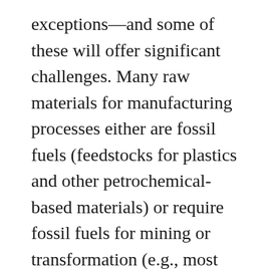exceptions—and some of these will offer significant challenges. Many raw materials for manufacturing processes either are fossil fuels (feedstocks for plastics and other petrochemical-based materials) or require fossil fuels for mining or transformation (e.g., most metals). Considerable effort will be needed to replace fossil-fuel-based industrial materials and to recycle nonrenewable materials more completely, significantly reducing the need for mining.